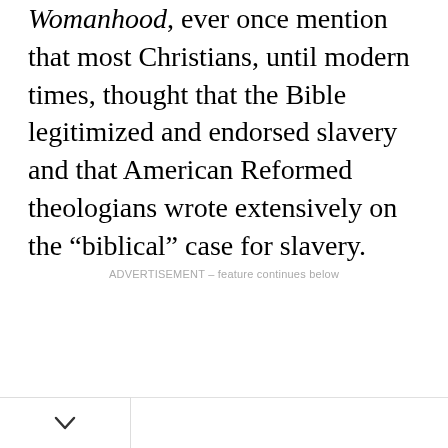Womanhood, ever once mention that most Christians, until modern times, thought that the Bible legitimized and endorsed slavery and that American Reformed theologians wrote extensively on the “biblical” case for slavery.
ADVERTISEMENT – feature continues below